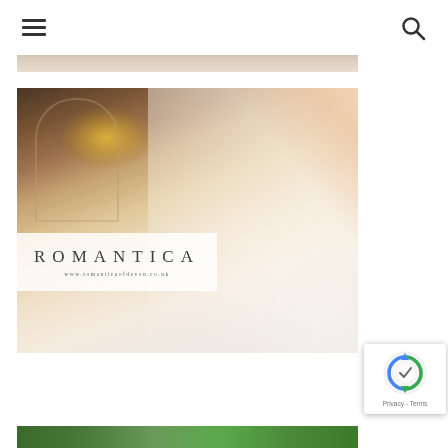Navigation header with hamburger menu and search icon
[Figure (photo): Partial top of a wedding dress photo, cropped at top]
[Figure (photo): Bridal photo of a smiling woman in a strapless white lace ball gown wedding dress, viewed from the back/side, with hair up with floral accessories. Indoor venue with chandelier and arched architecture. Romantica branding overlay with text 'ROMANTICA' and 'www.romanticaofdevon.co.uk']
[Figure (photo): Bottom strip showing partial wedding-related image, partially visible at bottom of page]
[Figure (other): reCAPTCHA Privacy Terms badge overlay in bottom-right corner]